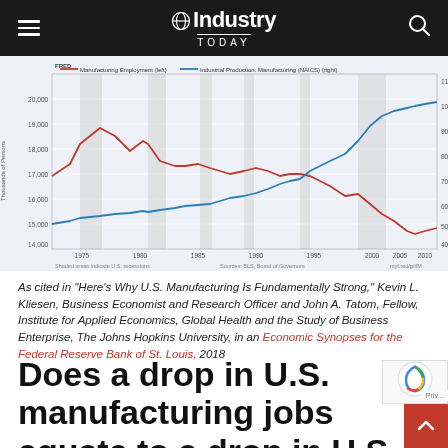Industry Today
[Figure (continuous-plot): FRED chart showing two time-series lines from approximately 1970 to 2018: a red line for manufacturing employment (thousands of persons, left axis, ranging ~11,000-20,000) and a blue line for Industrial Production: Manufacturing (NAICS) on the right axis (ranging ~30-110). Shaded areas indicate U.S. recessions. Red line trends downward overall, blue line trends upward. Source: BLS, Board of Governors.]
As cited in "Here's Why U.S. Manufacturing Is Fundamentally Strong," Kevin L. Kliesen, Business Economist and Research Officer and John A. Tatom, Fellow, Institute for Applied Economics, Global Health and the Study of Business Enterprise, The Johns Hopkins University, in an Economic Synopses for the Federal Reserve Bank of St. Louis, 2018
Does a drop in U.S. manufacturing jobs equate to a drop in U.S. manufacturing?